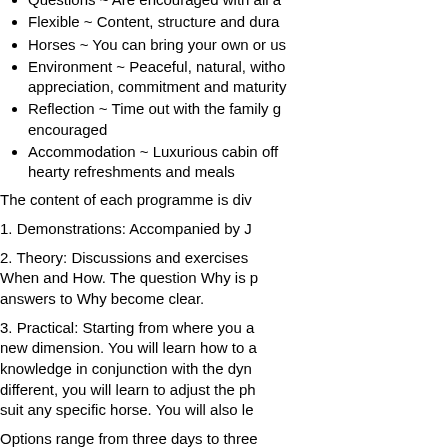Questions ~ Are encouraged with all a
Flexible ~ Content, structure and dura
Horses ~ You can bring your own or us
Environment ~ Peaceful, natural, witho appreciation, commitment and maturity
Reflection ~ Time out with the family g encouraged
Accommodation ~ Luxurious cabin off hearty refreshments and meals
The content of each programme is div
1. Demonstrations: Accompanied by J
2. Theory: Discussions and exercises When and How. The question Why is p answers to Why become clear.
3. Practical: Starting from where you a new dimension. You will learn how to a knowledge in conjunction with the dyn different, you will learn to adjust the ph suit any specific horse. You will also le
Options range from three days to three period of time or organised for you to a
Time to meet your tutor.
Time to consider the Herdword Philops